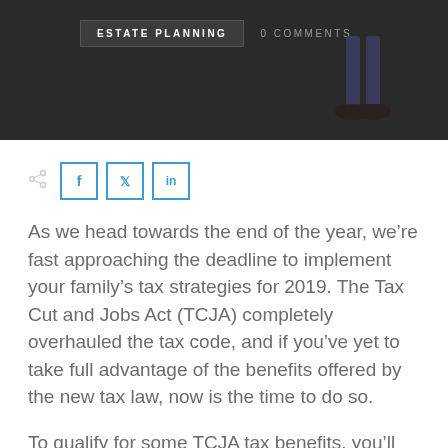ESTATE PLANNING   0 COMMENTS
[Figure (photo): Dark banner with legs of a person in dress shoes visible at top right]
[Figure (other): Social share bar with share icon and Facebook, Twitter, LinkedIn buttons]
As we head towards the end of the year, we're fast approaching the deadline to implement your family's tax strategies for 2019. The Tax Cut and Jobs Act (TCJA) completely overhauled the tax code, and if you've yet to take full advantage of the benefits offered by the new tax law, now is the time to do so.
To qualify for some TCJA tax benefits, you'll